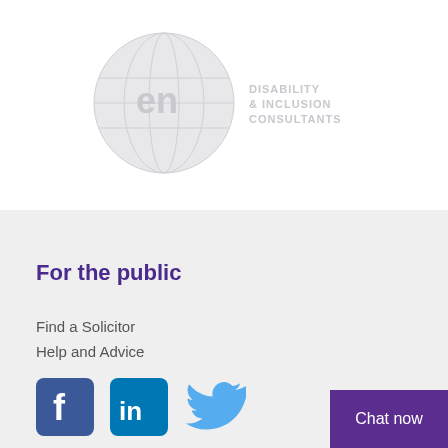[Figure (logo): enable disability & inclusion consultants logo — circular grey emblem with 'en' text and circular globe motif, with text 'DISABILITY & INCLUSION CONSULTANTS' to the right, faded/watermark style]
For the public
Find a Solicitor
Help and Advice
[Figure (logo): Facebook icon — blue rounded square with white f]
[Figure (logo): LinkedIn icon — blue rounded square with white in]
[Figure (logo): Twitter icon — blue bird silhouette]
Chat now